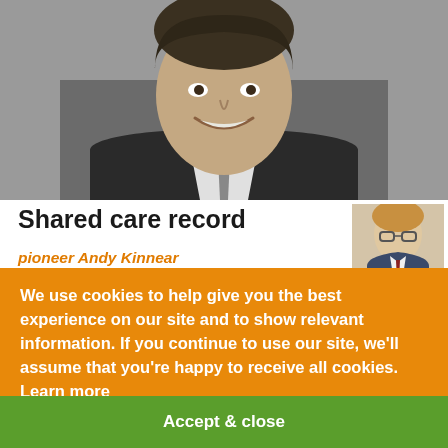[Figure (photo): Black and white portrait photo of a smiling middle-aged man in a suit jacket, taken from the chest up.]
Shared care record
[Figure (photo): Small colour thumbnail of a person with glasses — the article author.]
By Rob
Benson
8 April 2016
pioneer Andy Kinnear
explains why UK digital
health has many reasons
to be cheerful at the moment –
and suppliers that take the right
approach to sharing
We use cookies to help give you the best experience on our site and to show relevant information. If you continue to use our site, we'll assume that you're happy to receive all cookies.  Learn more
Accept & close